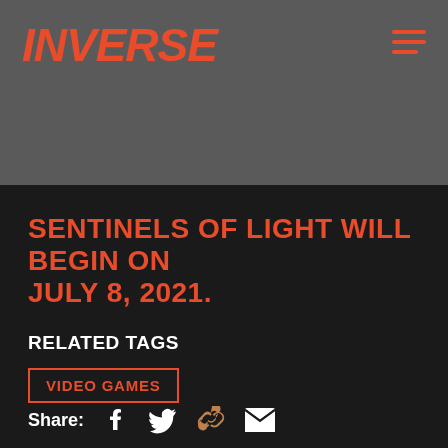[Figure (logo): INVERSE logo in bold italic orange-red text on dark grey background, with hamburger menu icon top right]
SENTINELS OF LIGHT WILL BEGIN ON JULY 8, 2021.
RELATED TAGS
VIDEO GAMES
Share: